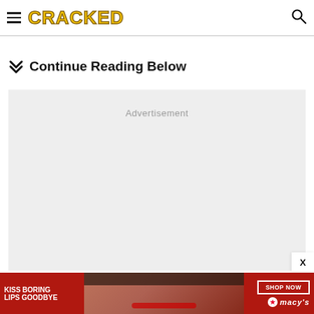CRACKED
Continue Reading Below
[Figure (other): Advertisement placeholder area with light gray background]
[Figure (other): Bottom banner advertisement: KISS BORING LIPS GOODBYE - SHOP NOW - macy's, featuring a woman's face with red lips]